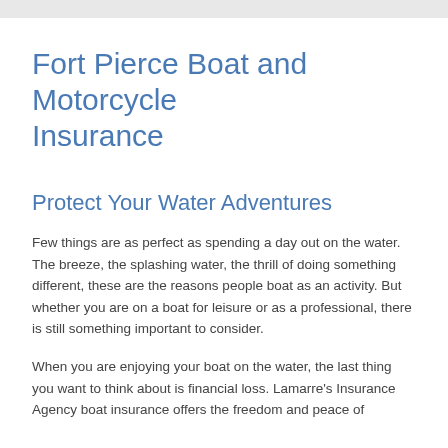Fort Pierce Boat and Motorcycle Insurance
Protect Your Water Adventures
Few things are as perfect as spending a day out on the water. The breeze, the splashing water, the thrill of doing something different, these are the reasons people boat as an activity. But whether you are on a boat for leisure or as a professional, there is still something important to consider.
When you are enjoying your boat on the water, the last thing you want to think about is financial loss. Lamarre's Insurance Agency boat insurance offers the freedom and peace of